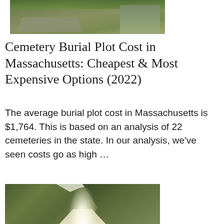[Figure (photo): Photo of an old cemetery with mossy stone slabs and grave markers covered in green moss and ivy, seen from above/side angle.]
Cemetery Burial Plot Cost in Massachusetts: Cheapest & Most Expensive Options (2022)
The average burial plot cost in Massachusetts is $1,764. This is based on an analysis of 22 cemeteries in the state. In our analysis, we've seen costs go as high …
[Figure (photo): Photo of a cemetery with tall green trees backlit by bright sunlight shining through, with grave markers visible in the foreground.]